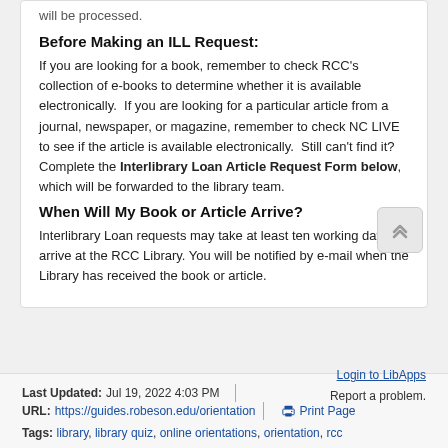will be processed.
Before Making an ILL Request:
If you are looking for a book, remember to check RCC's collection of e-books to determine whether it is available electronically.  If you are looking for a particular article from a journal, newspaper, or magazine, remember to check NC LIVE to see if the article is available electronically.  Still can't find it?  Complete the Interlibrary Loan Article Request Form below, which will be forwarded to the library team.
When Will My Book or Article Arrive?
Interlibrary Loan requests may take at least ten working days to arrive at the RCC Library. You will be notified by e-mail when the Library has received the book or article.
Last Updated: Jul 19, 2022 4:03 PM  |  URL: https://guides.robeson.edu/orientation  |  Print Page  |  Login to LibApps  Report a problem.  Tags: library, library quiz, online orientations, orientation, rcc